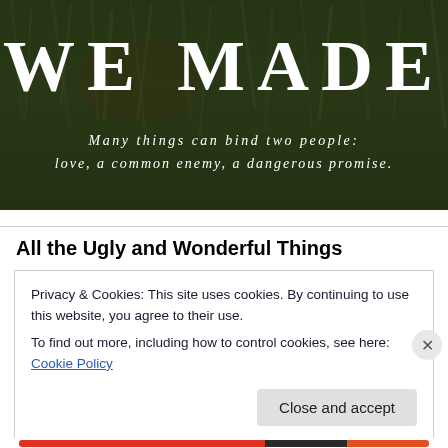[Figure (illustration): Dark green blurred grass/foliage background with large white serif letters 'WE MADE' and italic white text 'Many things can bind two people: love, a common enemy, a dangerous promise.']
All the Ugly and Wonderful Things
Privacy & Cookies: This site uses cookies. By continuing to use this website, you agree to their use.
To find out more, including how to control cookies, see here: Cookie Policy